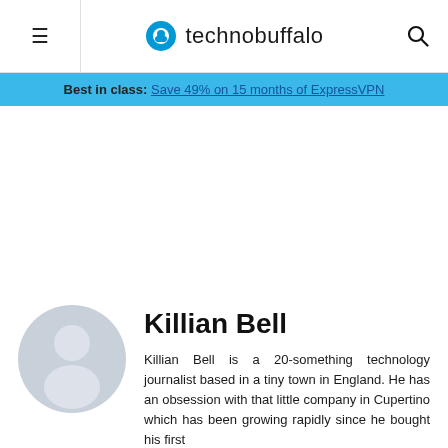≡  technobuffalo  🔍
Best in class: Save 49% on 15 months of ExpressVPN
[Figure (other): Advertisement space, blank white area]
[Figure (photo): Generic user avatar placeholder — grey circle with person silhouette]
Killian Bell
Killian Bell is a 20-something technology journalist based in a tiny town in England. He has an obsession with that little company in Cupertino which has been growing rapidly since he bought his first